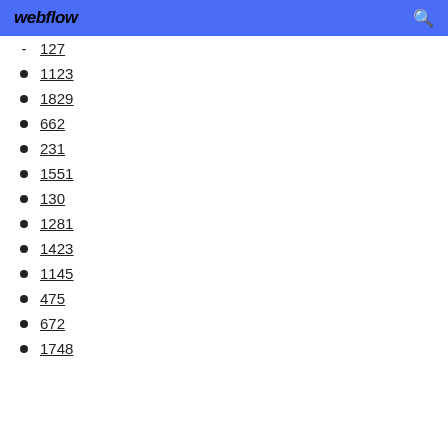webflow
127
1123
1829
662
231
1551
130
1281
1423
1145
475
672
1748